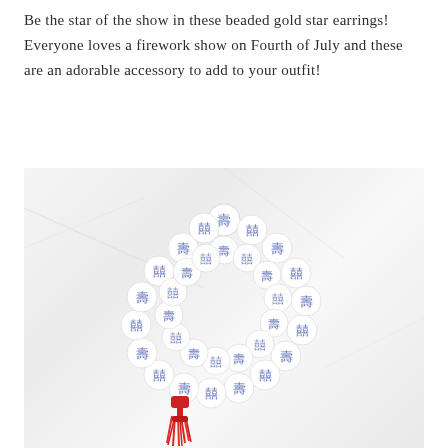Be the star of the show in these beaded gold star earrings! Everyone loves a firework show on Fourth of July and these are an adorable accessory to add to your outfit!
[Figure (photo): Photo of a blue and white porcelain bead bracelet with Chinese-style decorative patterns, coiled in a circle on a marble surface, with a red tassel hanging from the bottom left.]